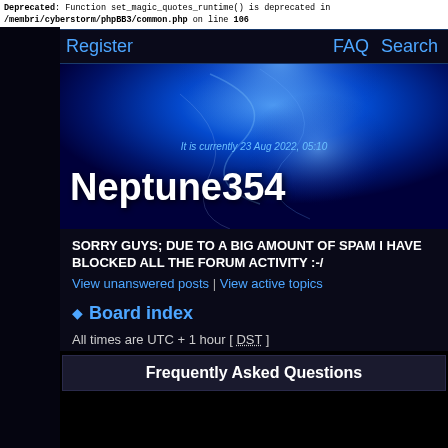Deprecated: Function set_magic_quotes_runtime() is deprecated in /membri/cyberstorm/phpBB3/common.php on line 106
Login  Register  FAQ  Search
[Figure (screenshot): Forum banner with blue solar corona background image and white bold text 'Neptune354'. Date overlay reads 'It is currently 23 Aug 2022, 05:10']
SORRY GUYS; DUE TO A BIG AMOUNT OF SPAM I HAVE BLOCKED ALL THE FORUM ACTIVITY :-/
View unanswered posts | View active topics
Board index
All times are UTC + 1 hour [ DST ]
Frequently Asked Questions